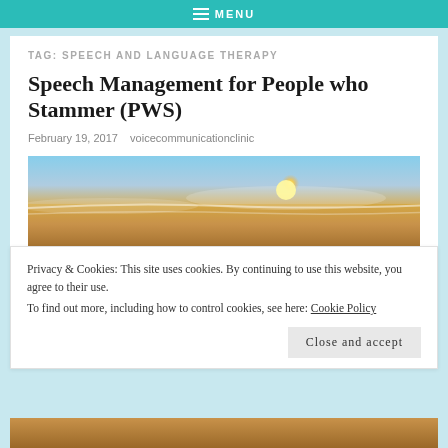MENU
TAG: SPEECH AND LANGUAGE THERAPY
Speech Management for People who Stammer (PWS)
February 19, 2017   voicecommunicationclinic
[Figure (photo): Beach sunset photo showing ocean waves, sandy shore and bright sun glowing near the horizon]
Privacy & Cookies: This site uses cookies. By continuing to use this website, you agree to their use.
To find out more, including how to control cookies, see here: Cookie Policy
Close and accept
[Figure (photo): Partial sandy beach image at bottom of page]